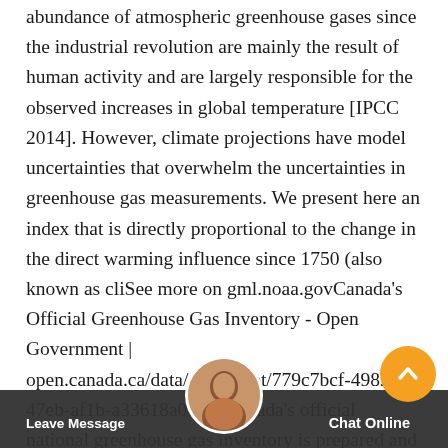abundance of atmospheric greenhouse gases since the industrial revolution are mainly the result of human activity and are largely responsible for the observed increases in global temperature [IPCC 2014]. However, climate projections have model uncertainties that overwhelm the uncertainties in greenhouse gas measurements. We present here an index that is directly proportional to the change in the direct warming influence since 1750 (also known as cliSee more on gml.noaa.govCanada's Official Greenhouse Gas Inventory - Open Government | open.canada.ca/data/en/dataset/779c7bcf-4982-47eb-af1b-a33618a05e5bCanada's official national greenhouse gas inventory is prepared and submitted annually to the United Nations Framework Convention on Climate Change (UNFCCC) by April 15 of each year, in accordance with the revised Guidelines for preparation of national communications by Parties included in Annex I of the Convention, Part I UNFCCC
[Figure (other): Chat widget overlay with agent avatar, 'Leave Message' button on the left, 'Chat Online' text on the right, and an orange circular back-to-top button.]